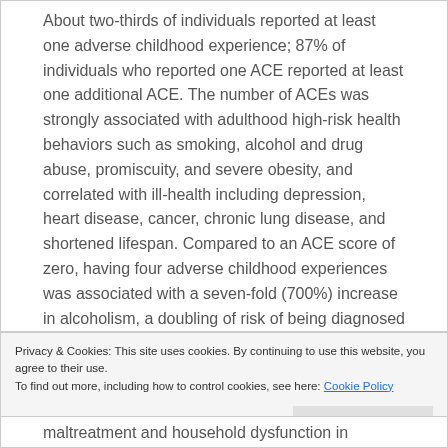About two-thirds of individuals reported at least one adverse childhood experience; 87% of individuals who reported one ACE reported at least one additional ACE. The number of ACEs was strongly associated with adulthood high-risk health behaviors such as smoking, alcohol and drug abuse, promiscuity, and severe obesity, and correlated with ill-health including depression, heart disease, cancer, chronic lung disease, and shortened lifespan. Compared to an ACE score of zero, having four adverse childhood experiences was associated with a seven-fold (700%) increase in alcoholism, a doubling of risk of being diagnosed with cancer, and a four-fold
Privacy & Cookies: This site uses cookies. By continuing to use this website, you agree to their use.
To find out more, including how to control cookies, see here: Cookie Policy
maltreatment and household dysfunction in